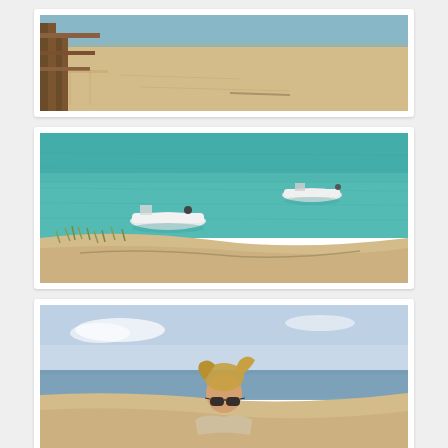[Figure (photo): Aerial or elevated view of a sandy beach with a wooden pier/dock structure on the left side. Sandy beach with footprints visible, blue water in the background.]
[Figure (photo): Aerial view of turquoise/teal lake water with two small white motorboats on the water. Sandy beach with grass/vegetation visible in the lower portion of the image.]
[Figure (photo): Person wearing sunglasses standing on a sandy dune with blue sky and lake visible in the background. Only the upper half of the person is visible.]